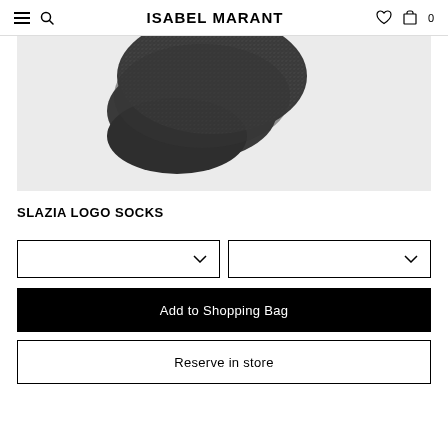ISABEL MARANT
[Figure (photo): Product photo of Slazia Logo Socks in dark grey/black sparkle material, shown from above against a light grey background]
SLAZIA LOGO SOCKS
Dropdown selector 1 (color/size)
Dropdown selector 2 (size/quantity)
Add to Shopping Bag
Reserve in store